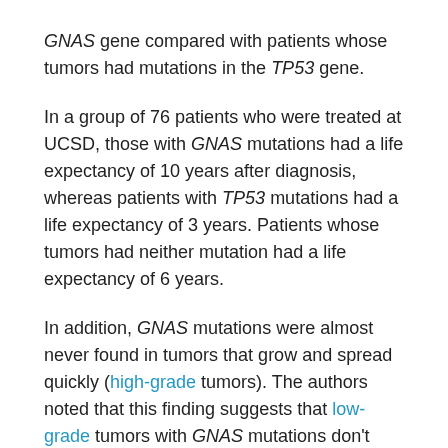GNAS gene compared with patients whose tumors had mutations in the TP53 gene.
In a group of 76 patients who were treated at UCSD, those with GNAS mutations had a life expectancy of 10 years after diagnosis, whereas patients with TP53 mutations had a life expectancy of 3 years. Patients whose tumors had neither mutation had a life expectancy of 6 years.
In addition, GNAS mutations were almost never found in tumors that grow and spread quickly (high-grade tumors). The authors noted that this finding suggests that low-grade tumors with GNAS mutations don't develop into high-grade tumors. By contrast, TP53 mutations were associated with poorer outcomes regardless of tumor grade.
Dr. Shen said he doesn't expect this data to change clinical